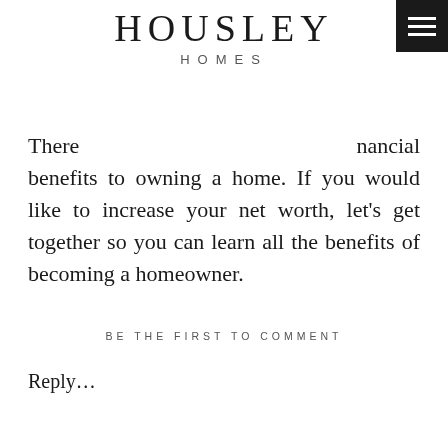HOUSLEY HOMES
There are many financial benefits to owning a home. If you would like to increase your net worth, let's get together so you can learn all the benefits of becoming a homeowner.
BE THE FIRST TO COMMENT
Reply…